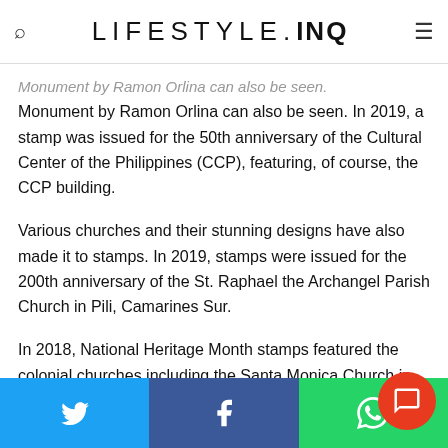LIFESTYLE.INQ
Monument by Ramon Orlina can also be seen. In 2019, a stamp was issued for the 50th anniversary of the Cultural Center of the Philippines (CCP), featuring, of course, the CCP building.
Various churches and their stunning designs have also made it to stamps. In 2019, stamps were issued for the 200th anniversary of the St. Raphael the Archangel Parish Church in Pili, Camarines Sur.
In 2018, National Heritage Month stamps featured the colonial churches including the Santa Monica Church in Panay, Capiz; San Carlos Borromeo Church in Mahatas, Batanes; Santa Monica Church in Minalin, Pampan…
Twitter | Facebook | WhatsApp